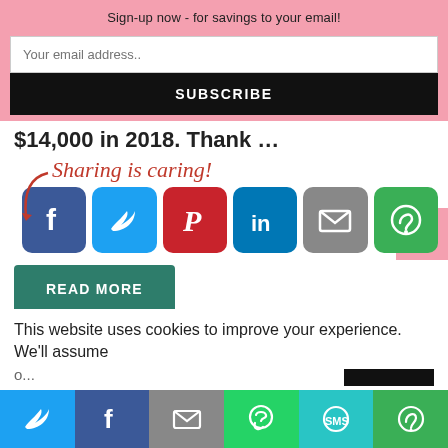Sign-up now - for savings to your email!
Your email address..
SUBSCRIBE
$14,000 in 2018. Thank ...
[Figure (screenshot): Sharing is caring! with social share icons: Facebook, Twitter, Pinterest, LinkedIn, Email, More]
READ MORE
This website uses cookies to improve your experience. We'll assume
[Figure (screenshot): Bottom share bar with Twitter, Facebook, Email, WhatsApp, SMS, More icons]